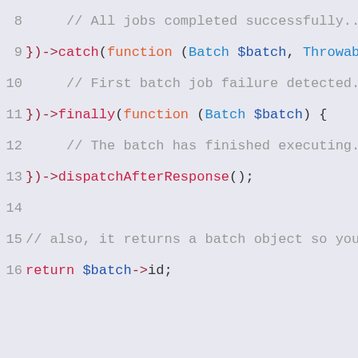[Figure (screenshot): PHP code snippet showing batch job handling with ->catch(), ->finally(), and ->dispatchAfterResponse() methods, lines 8-16]
8    // All jobs completed successfully...
9})->catch(function (Batch $batch, Throwabl
10    // First batch job failure detected...
11})->finally(function (Batch $batch) {
12    // The batch has finished executing...
13})->dispatchAfterResponse();
14
15// also, it returns a batch object so you 
16return $batch->id;